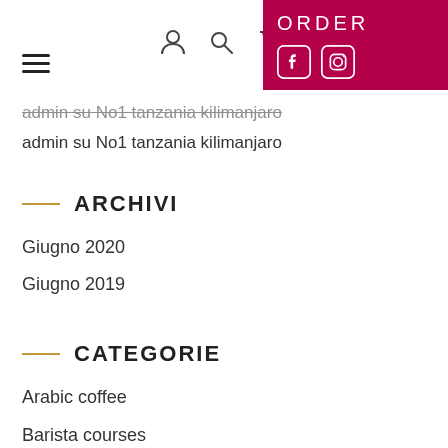ORDER | navigation icons | Facebook | Instagram
admin su No1 tanzania kilimanjaro (strikethrough)
admin su No1 tanzania kilimanjaro
ARCHIVI
Giugno 2020
Giugno 2019
CATEGORIE
Arabic coffee
Barista courses
Coffee Effects
Coffee types